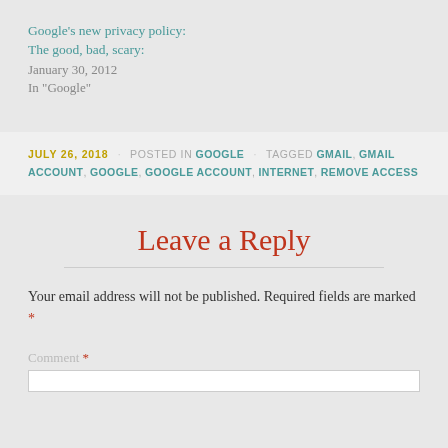Google's new privacy policy:
The good, bad, scary:
January 30, 2012
In "Google"
JULY 26, 2018 · POSTED IN GOOGLE · TAGGED GMAIL, GMAIL ACCOUNT, GOOGLE, GOOGLE ACCOUNT, INTERNET, REMOVE ACCESS
Leave a Reply
Your email address will not be published. Required fields are marked *
Comment *